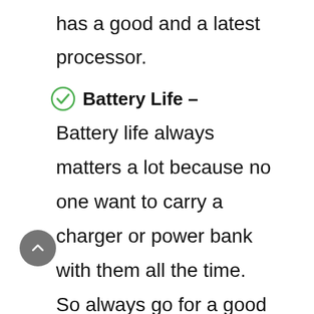has a good and a latest processor.
Battery Life –
Battery life always matters a lot because no one want to carry a charger or power bank with them all the time. So always go for a good